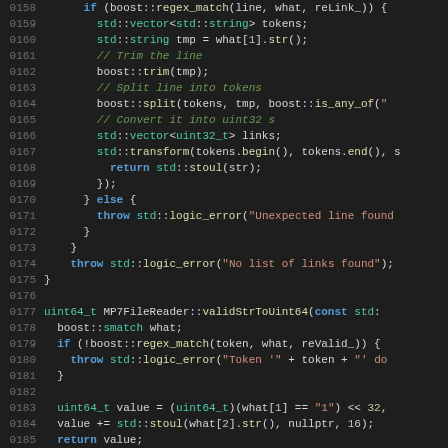[Figure (screenshot): Source code listing in a dark-themed code editor showing C++ code lines 0158-0187, including a function with boost::regex_match, std::vector, std::transform, throw std::logic_error, and a validStrToUint64 function.]